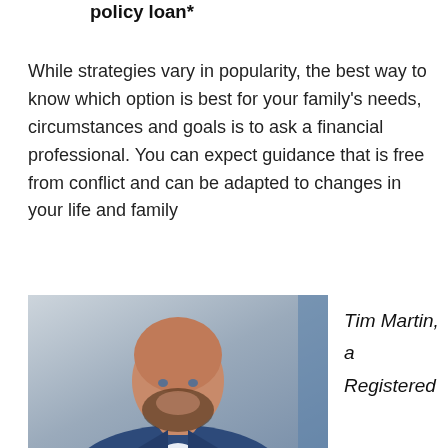policy loan*
While strategies vary in popularity, the best way to know which option is best for your family's needs, circumstances and goals is to ask a financial professional. You can expect guidance that is free from conflict and can be adapted to changes in your life and family
[Figure (photo): Professional headshot of Tim Martin, a bald man with a beard wearing a blue suit, smiling at the camera against a light grey office background.]
Tim Martin, a Registered